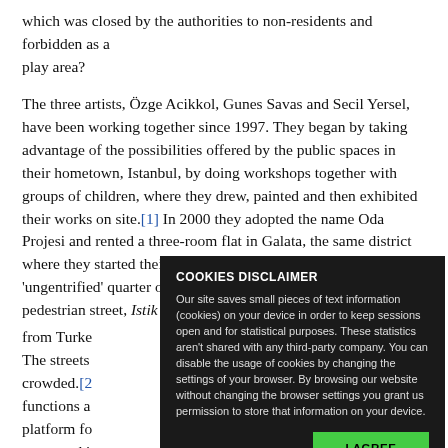which was closed by the authorities to non-residents and forbidden as a play area?

The three artists, Özge Acikkol, Gunes Savas and Secil Yersel, have been working together since 1997. They began by taking advantage of the possibilities offered by the public spaces in their hometown, Istanbul, by doing workshops together with groups of children, where they drew, painted and then exhibited their works on site.[1] In 2000 they adopted the name Oda Projesi and rented a three-room flat in Galata, the same district where they started their workshops. At that time still an 'ungentrified' quarter of Istanbul, Galata lies near the famous pedestrian street, Istik... from Turke... The streets... crowded.[2... functions a... platform fo... generated i...

The artists...
built up relationships with neighbours, especially with the children...
[Figure (screenshot): Cookie disclaimer overlay popup with dark background. Title: 'COOKIES DISCLAIMER'. Body text explaining cookie usage and a green 'I AGREE' button.]